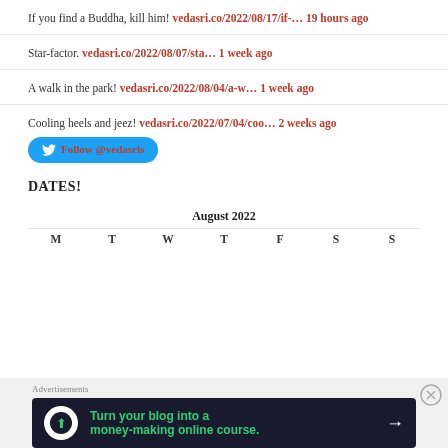If you find a Buddha, kill him! vedasri.co/2022/08/17/if-… 19 hours ago
Star-factor. vedasri.co/2022/08/07/sta… 1 week ago
A walk in the park! vedasri.co/2022/08/04/a-w… 1 week ago
Cooling heels and jeez! vedasri.co/2022/07/04/coo… 2 weeks ago
DATES!
| M | T | W | T | F | S | S |
| --- | --- | --- | --- | --- | --- | --- |
Advertisements
[Figure (infographic): Advertisement banner: Turn your blog into a money-making online course. Dark background with green text and arrow.]